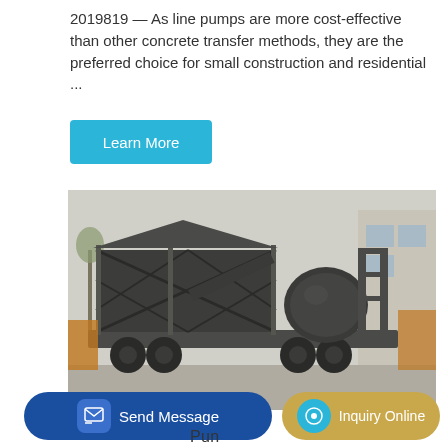2019819 — As line pumps are more cost-effective than other concrete transfer methods, they are the preferred choice for small construction and residential ...
[Figure (other): Learn More button — cyan/teal rectangular button with white text]
[Figure (photo): Industrial mobile concrete mixing plant on wheels, dark grey steel frame structure with drum mixer, parked outdoors at a construction equipment yard]
[Figure (other): Send Message button — dark blue rounded button with icon]
[Figure (other): Inquiry Online button — golden/tan rounded button with teal icon]
Pun...